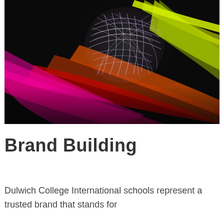[Figure (illustration): Abstract art image showing a glowing wireframe sphere/ball of light on a dark background, with colorful flowing silk-like ribbons in magenta, red, orange, yellow-green, and yellow sweeping across the lower half of the image.]
Brand Building
Dulwich College International schools represent a trusted brand that stands for